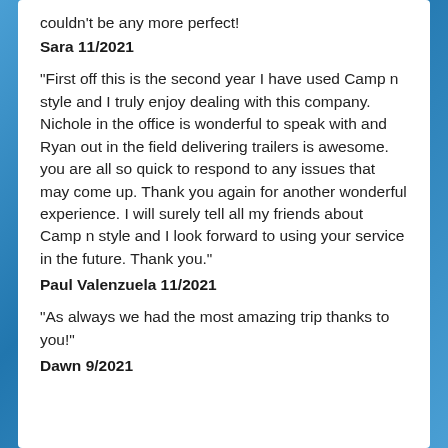couldn't be any more perfect!
Sara 11/2021
“First off this is the second year I have used Camp n style and I truly enjoy dealing with this company. Nichole in the office is wonderful to speak with and Ryan out in the field delivering trailers is awesome. you are all so quick to respond to any issues that may come up. Thank you again for another wonderful experience. I will surely tell all my friends about Camp n style and I look forward to using your service in the future. Thank you.”
Paul Valenzuela 11/2021
“As always we had the most amazing trip thanks to you!”
Dawn 9/2021